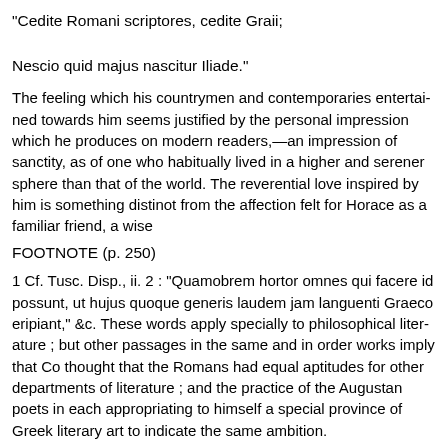"Cedite Romani scriptores, cedite Graii;

Nescio quid majus nascitur Iliade."
The feeling which his countrymen and contemporaries entertained towards him seems justified by the personal impression which he produces on modern readers,—an impression of sanctity, as of one who habitually lived in a higher and serener sphere than that of the world. The reverential love inspired by him is something distinct from the affection felt for Horace as a familiar friend, a wise
FOOTNOTE (p. 250)
1 Cf. Tusc. Disp., ii. 2 : "Quamobrem hortor omnes qui facere id possunt, ut hujus quoque generis laudem jam languenti Graeciae eripiant," &c. These words apply specially to philosophical literature ; but other passages in the same and in order works imply that Cicero thought that the Romans had equal aptitudes for other departments of literature ; and the practice of the Augustan poets in each appropriating to himself a special province of Greek literary art seems to indicate the same ambition.
counsellor, and genial companion, sharing the ordinary interests and pleasures of life, liable to the same weakness and endeared by the same social charm as those who are best liked in the intercourse